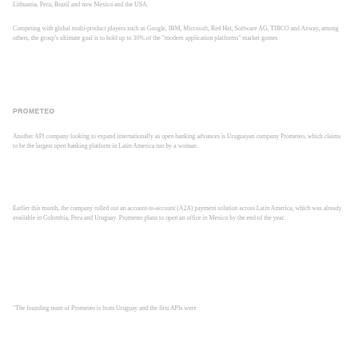The company has offices in the UK, Ireland, Germany, Spain, Switzerland, Lithuania, Peru, Brazil and now Mexico and the USA.
Competing with global multi-product players such as Google, IBM, Microsoft, Red Hat, Software AG, TIBCO and Axway, among others, the group's ultimate goal is to hold up to 30% of the "modern application platforms" market gomes
PROMETEO
Another API company looking to expand internationally as open banking advances is Uruguayan company Prometeo, which claims to be the largest open banking platform in Latin America run by a woman.
Earlier this month, the company rolled out an account-to-account (A2A) payment solution across Latin America, which was already available in Colombia, Peru and Uruguay. Prometeo plans to open an office in Mexico by the end of the year.
"The founding team of Prometeo is from Uruguay and the first APIs were